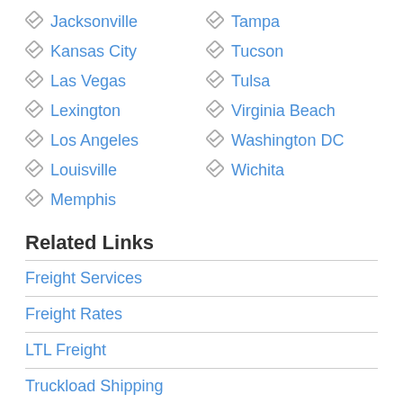Jacksonville
Tampa
Kansas City
Tucson
Las Vegas
Tulsa
Lexington
Virginia Beach
Los Angeles
Washington DC
Louisville
Wichita
Memphis
Related Links
Freight Services
Freight Rates
LTL Freight
Truckload Shipping